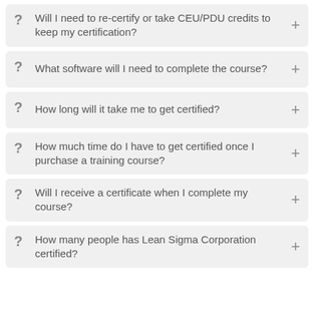Will I need to re-certify or take CEU/PDU credits to keep my certification?
What software will I need to complete the course?
How long will it take me to get certified?
How much time do I have to get certified once I purchase a training course?
Will I receive a certificate when I complete my course?
How many people has Lean Sigma Corporation certified?